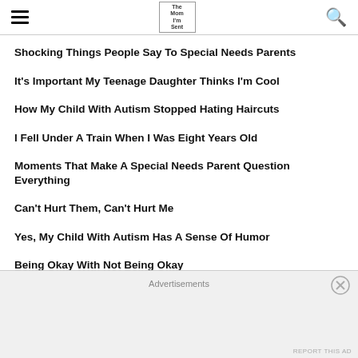hamburger menu | logo | search icon
Shocking Things People Say To Special Needs Parents
It's Important My Teenage Daughter Thinks I'm Cool
How My Child With Autism Stopped Hating Haircuts
I Fell Under A Train When I Was Eight Years Old
Moments That Make A Special Needs Parent Question Everything
Can't Hurt Them, Can't Hurt Me
Yes, My Child With Autism Has A Sense Of Humor
Being Okay With Not Being Okay
When My Child With Autism Has Trouble Transitioning
Advertisements